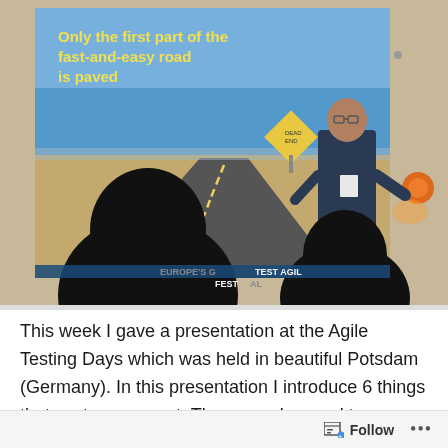[Figure (photo): Conference room photo showing a presenter standing in front of a large projected slide that reads 'Only the first part of the fast-and-easy road is paved' with an image of a road in a desert ending abruptly. Two audience members are visible in the foreground as silhouettes. A banner in the bottom reads 'EUROPE'S GREATEST AGILE TESTING FESTIVAL'. An orange wall light is visible on the right.]
This week I gave a presentation at the Agile Testing Days which was held in beautiful Potsdam (Germany). In this presentation I introduce 6 things that customers want. These can be used to promote the new items that need to be developed. In order to deliver solutions that create
Follow ...